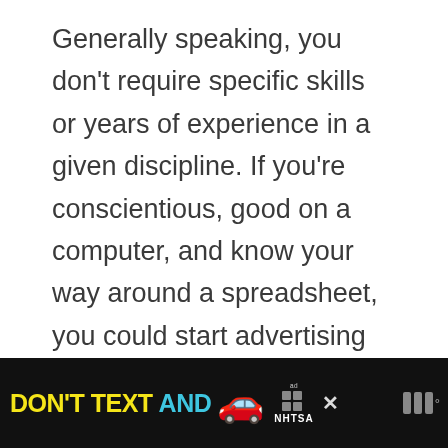Generally speaking, you don't require specific skills or years of experience in a given discipline. If you're conscientious, good on a computer, and know your way around a spreadsheet, you could start advertising your services as a virtual assistant today.
[Figure (screenshot): UI controls: upvote chevron button, vote count 72, heart/like button, dark red search button]
[Figure (infographic): Ad banner: DON'T TEXT AND [car emoji] with NHTSA logo and close button, weather widget on right]